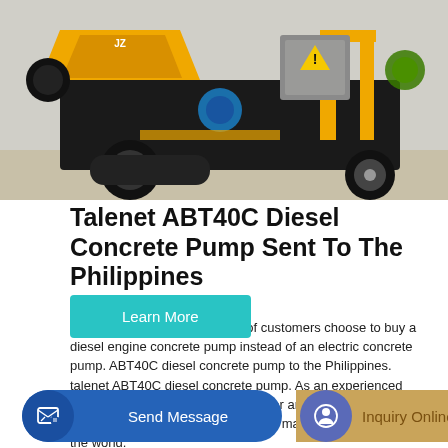[Figure (photo): Yellow and black diesel concrete pump machine (Talenet ABT40C) on a flat surface, showing the orange hopper, black pump body, large rubber tires, and yellow frame structure.]
Talenet ABT40C Diesel Concrete Pump Sent To The Philippines
Oct 05, 2020 · A large number of customers choose to buy a diesel engine concrete pump instead of an electric concrete pump. ABT40C diesel concrete pump to the Philippines. talenet ABT40C diesel concrete pump. As an experienced construction machinery manufacturer and exporter, talenet has exported our concrete pumps to many countries all over the world.
Learn More
Send Message
Inquiry Online